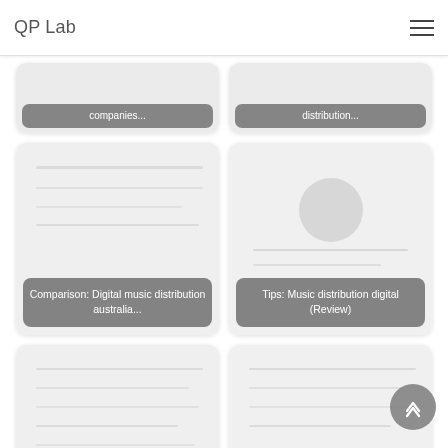QP Lab
[Figure (screenshot): Card thumbnail with caption overlay reading 'companies...']
[Figure (screenshot): Card thumbnail with caption overlay reading 'distribution...']
[Figure (screenshot): Card thumbnail with caption overlay reading 'Comparison: Digital music distribution australia...']
[Figure (screenshot): Card thumbnail with avatar circle and caption overlay reading 'Tips: Music distribution digital (Review)']
[Figure (screenshot): Card thumbnail with caption overlay reading 'Review: Digital music distribution (Review)']
[Figure (screenshot): Card thumbnail with caption overlay reading 'Best Deal: Free music distribution platforms (Scam?)']